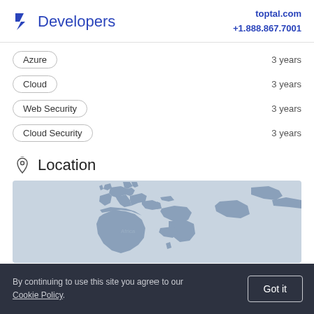Developers | toptal.com +1.888.867.7001
Azure — 3 years
Cloud — 3 years
Web Security — 3 years
Cloud Security — 3 years
Location
[Figure (map): World map showing Europe, Africa, Middle East, and parts of Asia. Land masses shown in muted blue-grey, oceans in lighter blue-grey.]
By continuing to use this site you agree to our Cookie Policy.